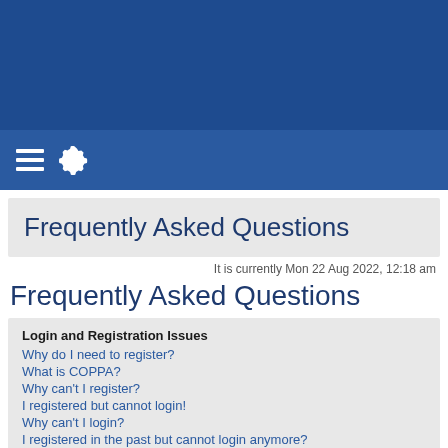[Figure (screenshot): Navigation bar with hamburger menu icon and gear/settings icon on dark blue background]
Frequently Asked Questions
It is currently Mon 22 Aug 2022, 12:18 am
Frequently Asked Questions
Login and Registration Issues
Why do I need to register?
What is COPPA?
Why can't I register?
I registered but cannot login!
Why can't I login?
I registered in the past but cannot login anymore?